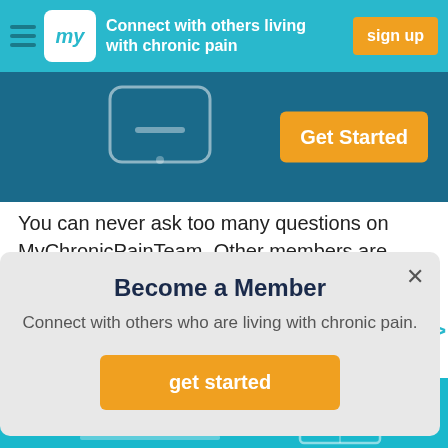Connect with others living with chronic pain | sign up
[Figure (screenshot): Blue banner with phone icon and orange Get Started button]
You can never ask too many questions on MyChronicPainTeam. Other members are here to support you,...
Become a Member
Connect with others who are living with chronic pain.
get started
[Figure (screenshot): Bottom teal section with decorative chat and icon graphics]